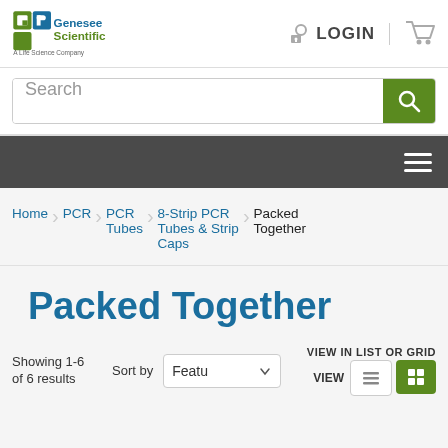[Figure (logo): Genesee Scientific - A Life Science Company logo with green and blue stylized G and P shapes]
LOGIN
[Figure (illustration): Shopping cart icon]
Search
[Figure (other): Hamburger menu icon (three horizontal white lines)]
Home > PCR > PCR Tubes > 8-Strip PCR Tubes & Strip Caps > Packed Together
Packed Together
Showing 1-6 of 6 results Sort by Featu VIEW IN LIST OR GRID VIEW